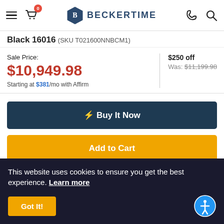BECKERTIME
Black 16016 (SKU T021600NNBCM1)
Sale Price: $10,949.98 Starting at $381/mo with Affirm
$250 off Was: $11,199.98
⚡ Buy It Now
Add to Cart
[Figure (logo): Norton Shopping Guarantee logo]
This website uses cookies to ensure you get the best experience. Learn more
Got It!